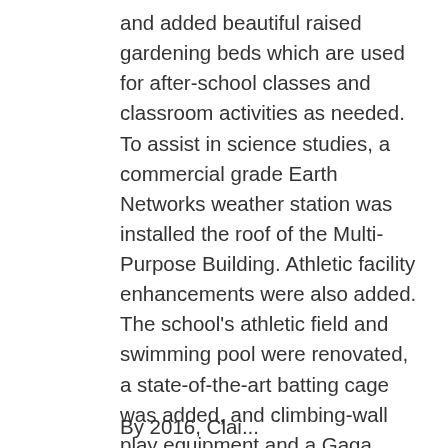and added beautiful raised gardening beds which are used for after-school classes and classroom activities as needed. To assist in science studies, a commercial grade Earth Networks weather station was installed the roof of the Multi-Purpose Building. Athletic facility enhancements were also added. The school's athletic field and swimming pool were renovated, a state-of-the-art batting cage was added, and climbing-wall play equipment and a Gaga court were added. By 2015, the computer technology on campus was boosted to an even higher level with the installation of an Innovation Lab complete with 3D printers, new computers, touch-screen monitors, and programmable robots.
By 2016, Clai...